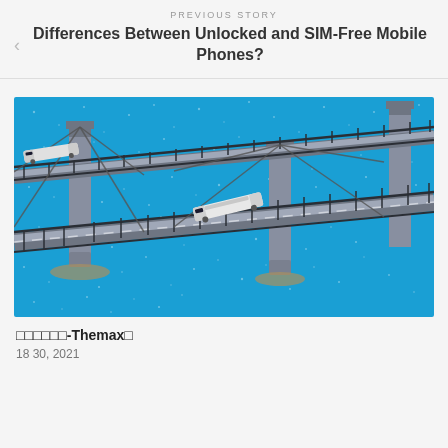PREVIOUS STORY
Differences Between Unlocked and SIM-Free Mobile Phones?
[Figure (illustration): Isometric pixel art illustration of a suspension bridge over blue water with two white trains crossing it, gray towers and railings, blue sparkling water below.]
□□□□□□-Themax□
18 30, 2021